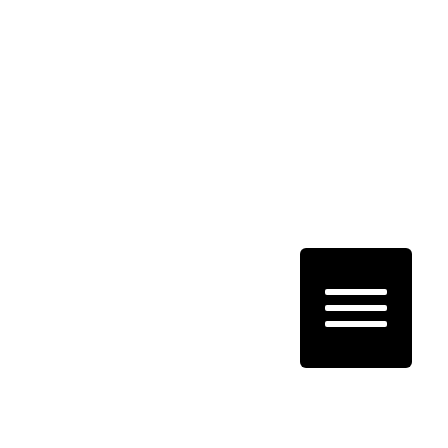[Figure (other): Hamburger menu icon — three white horizontal lines on a black rounded rectangle background]
Are you tired of finding the best trading places in your area are you finding it difficult to find it because you're just giving up will don't worry because here at best hard drive Shredder we make it easy for you to help with all your needs. I simply going on her website or giving us a call today you will go to see just how it is all we can help you with all your training needs. We make it super easy for customers to see how it is that we can help them by simply